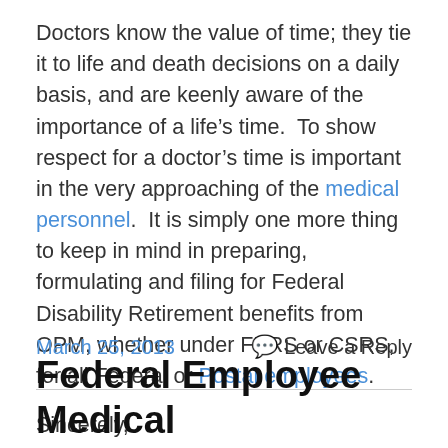Doctors know the value of time; they tie it to life and death decisions on a daily basis, and are keenly aware of the importance of a life's time.  To show respect for a doctor's time is important in the very approaching of the medical personnel.  It is simply one more thing to keep in mind in preparing, formulating and filing for Federal Disability Retirement benefits from OPM, whether under FERS or CSRS, for all Federal or Postal employees.
Sincerely,
Robert R. McGill, Esquire
March 25, 2013
Leave a Reply
Federal Employee Medical